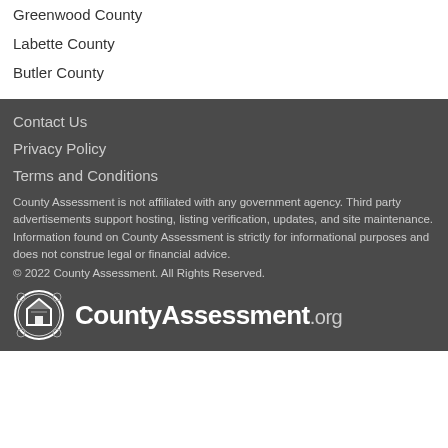Greenwood County
Labette County
Butler County
Contact Us
Privacy Policy
Terms and Conditions
County Assessment is not affiliated with any government agency. Third party advertisements support hosting, listing verification, updates, and site maintenance. Information found on County Assessment is strictly for informational purposes and does not construe legal or financial advice.
© 2022 County Assessment. All Rights Reserved.
[Figure (logo): CountyAssessment.org logo with circular house/document icon and bold text]